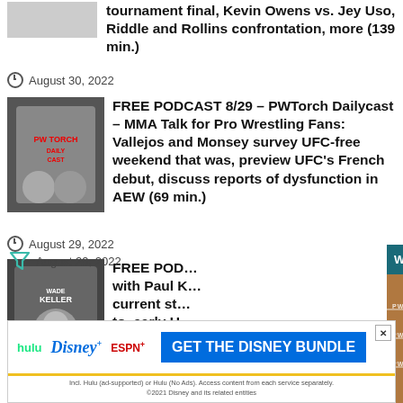tournament final, Kevin Owens vs. Jey Uso, Riddle and Rollins confrontation, more (139 min.)
August 30, 2022
[Figure (photo): Podcast thumbnail image for PW Torch Daily Cast MMA Talk]
FREE PODCAST 8/29 – PWTorch Dailycast – MMA Talk for Pro Wrestling Fans: Vallejos and Monsey survey UFC-free weekend that was, preview UFC's French debut, discuss reports of dysfunction in AEW (69 min.)
August 29, 2022
[Figure (photo): Podcast thumbnail image for Wade Keller podcast]
FREE POD... with Paul K... current st... to, early U... Taker stro...
[Figure (screenshot): Video overlay: Why are pro wrestlers singing on the w... with PWTORCH branding and a person in a baseball cap]
August 29, 2022
FREE POD...
[Figure (photo): Disney Bundle advertisement: hulu Disney+ ESPN+ GET THE DISNEY BUNDLE]